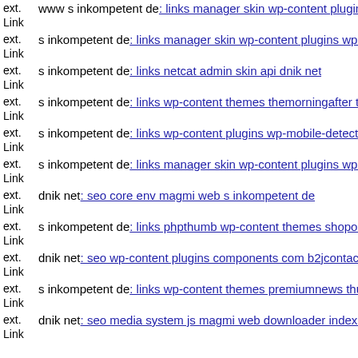ext. Link www s inkompetent de: links manager skin wp-content plugins
ext. Link s inkompetent de: links manager skin wp-content plugins wp-fi
ext. Link s inkompetent de: links netcat admin skin api dnik net
ext. Link s inkompetent de: links wp-content themes themorningafter the
ext. Link s inkompetent de: links wp-content plugins wp-mobile-detector
ext. Link s inkompetent de: links manager skin wp-content plugins wp-fi
ext. Link dnik net: seo core env magmi web s inkompetent de
ext. Link s inkompetent de: links phpthumb wp-content themes shopo s i
ext. Link dnik net: seo wp-content plugins components com b2jcontact h
ext. Link s inkompetent de: links wp-content themes premiumnews thum
ext. Link dnik net: seo media system js magmi web downloader index ph